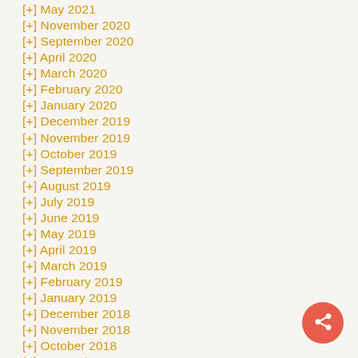[+] May 2021
[+] November 2020
[+] September 2020
[+] April 2020
[+] March 2020
[+] February 2020
[+] January 2020
[+] December 2019
[+] November 2019
[+] October 2019
[+] September 2019
[+] August 2019
[+] July 2019
[+] June 2019
[+] May 2019
[+] April 2019
[+] March 2019
[+] February 2019
[+] January 2019
[+] December 2018
[+] November 2018
[+] October 2018
[+] September 2018